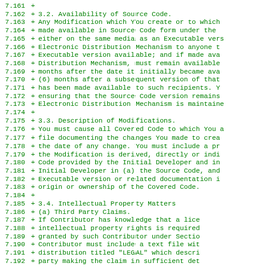Diff/patch view of a legal license document (Mozilla Public License style), lines 7.161-7.192, showing additions (+) covering sections 3.2 Availability of Source Code, 3.3 Description of Modifications, and 3.4 Intellectual Property Matters.